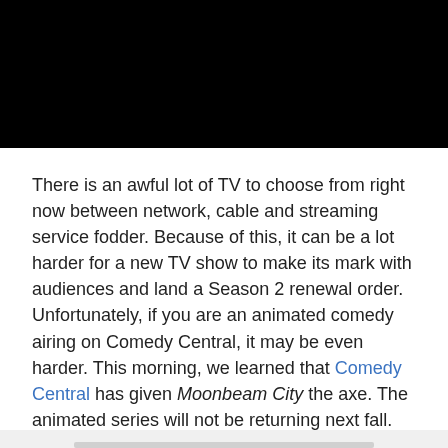[Figure (photo): Black rectangular image at the top of the page]
There is an awful lot of TV to choose from right now between network, cable and streaming service fodder. Because of this, it can be a lot harder for a new TV show to make its mark with audiences and land a Season 2 renewal order. Unfortunately, if you are an animated comedy airing on Comedy Central, it may be even harder. This morning, we learned that Comedy Central has given Moonbeam City the axe. The animated series will not be returning next fall.